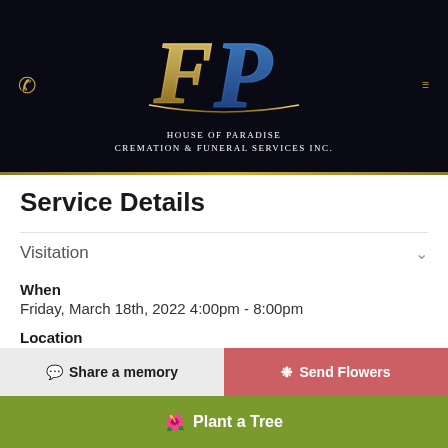[Figure (logo): House of Paradise Cremation & Funeral Services Inc. logo with stylized FP monogram in gold and blue on dark background]
Service Details
Visitation
When
Friday, March 18th, 2022 4:00pm - 8:00pm
Location
House of Paradise Cremation and Funeral Services Inc
Address
1846 West 26th Street
Share a memory
Send Flowers
Plant a Tree